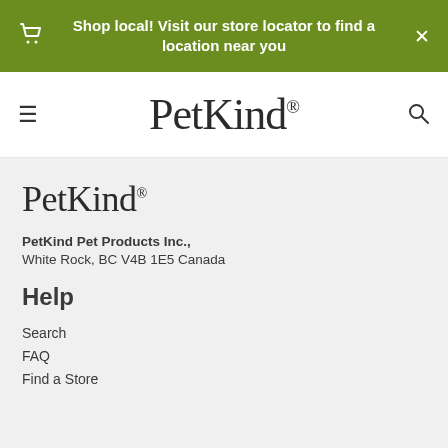Shop local! Visit our store locator to find a location near you
[Figure (logo): PetKind brand logo in serif font in the navigation bar]
[Figure (logo): PetKind brand logo in serif font in the footer area]
PetKind Pet Products Inc., White Rock, BC V4B 1E5 Canada
Help
Search
FAQ
Find a Store